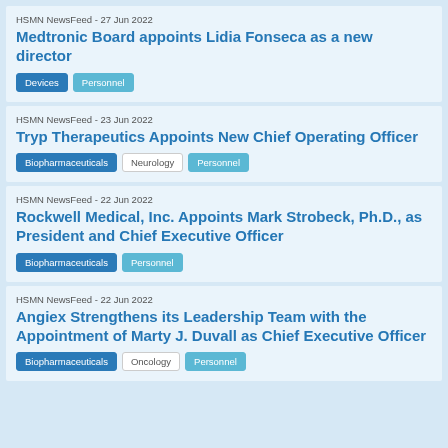HSMN NewsFeed - 27 Jun 2022
Medtronic Board appoints Lidia Fonseca as a new director
Devices | Personnel
HSMN NewsFeed - 23 Jun 2022
Tryp Therapeutics Appoints New Chief Operating Officer
Biopharmaceuticals | Neurology | Personnel
HSMN NewsFeed - 22 Jun 2022
Rockwell Medical, Inc. Appoints Mark Strobeck, Ph.D., as President and Chief Executive Officer
Biopharmaceuticals | Personnel
HSMN NewsFeed - 22 Jun 2022
Angiex Strengthens its Leadership Team with the Appointment of Marty J. Duvall as Chief Executive Officer
Biopharmaceuticals | Oncology | Personnel